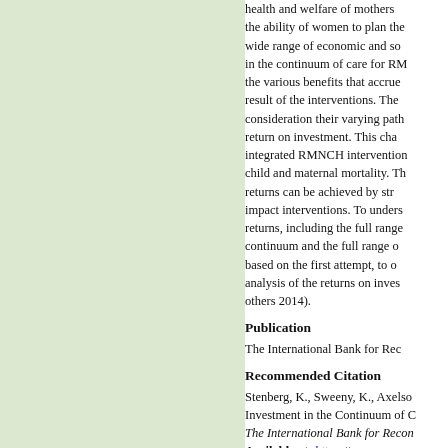[Figure (illustration): Light green rectangular panel on the left side of the page]
health and welfare of mothers the ability of women to plan the wide range of economic and so in the continuum of care for RM the various benefits that accrue result of the interventions. The consideration their varying path return on investment. This cha integrated RMNCH intervention child and maternal mortality. Th returns can be achieved by str impact interventions. To unders returns, including the full range continuum and the full range o based on the first attempt, to o analysis of the returns on inves others 2014).
Publication
The International Bank for Rec
Recommended Citation
Stenberg, K., Sweeny, K., Axelso Investment in the Continuum of C The International Bank for Recon
Available at: https://ecommons.a